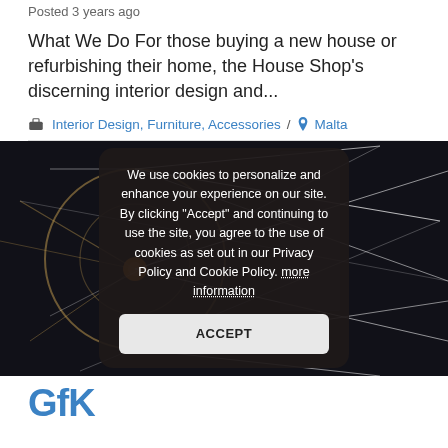Posted 3 years ago
What We Do For those buying a new house or refurbishing their home, the House Shop’s discerning interior design and...
Interior Design, Furniture, Accessories / Malta
[Figure (photo): Dark geometric art with lines and a circle, overlaid by a cookie consent popup with Accept button]
We use cookies to personalize and enhance your experience on our site. By clicking "Accept" and continuing to use the site, you agree to the use of cookies as set out in our Privacy Policy and Cookie Policy. more information
ACCEPT
GfK